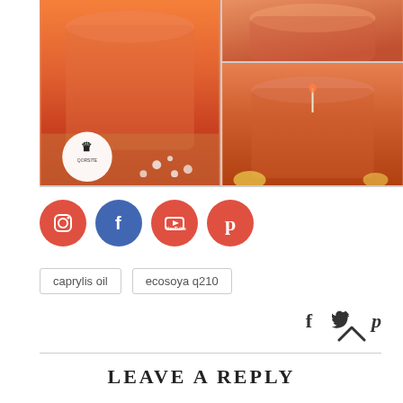[Figure (photo): Grid of four photos showing orange/salmon colored candles in glass mason jars, with soy wax beads scattered on a wooden board. Bottom-left of left photo has a circular logo stamp.]
[Figure (infographic): Four social media icon circles: Instagram (red-orange), Facebook (blue), YouTube (red-orange), Pinterest (red-orange)]
caprylis oil
ecosoya q210
Share icons: f (Facebook), Twitter bird, Pinterest p
Back to top arrow (^)
LEAVE A REPLY